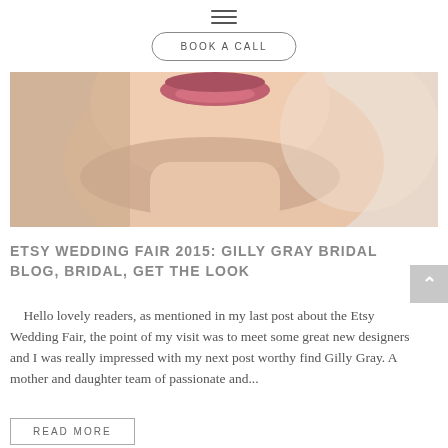[Figure (other): Hamburger/menu icon with three horizontal lines]
BOOK A CALL
[Figure (photo): Close-up photo of a woman's face (lower half), smiling, with pink lips, on a light beige/cream background]
ETSY WEDDING FAIR 2015: GILLY GRAY BRIDAL BLOG, BRIDAL, GET THE LOOK
Hello lovely readers, as mentioned in my last post about the Etsy Wedding Fair, the point of my visit was to meet some great new designers and I was really impressed with my next post worthy find Gilly Gray. A mother and daughter team of passionate and...
READ MORE